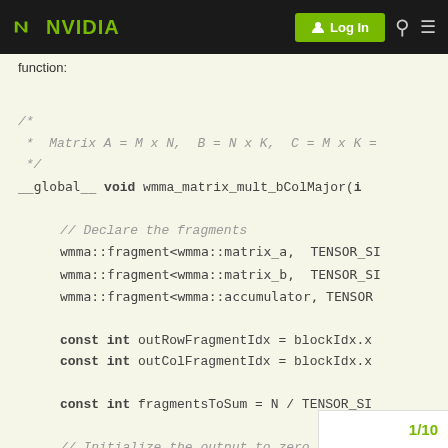NVIDIA | Log In
function:
1/10